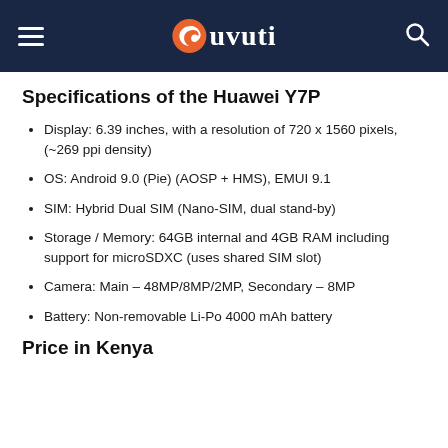Tuvuti
Specifications of the Huawei Y7P
Display: 6.39 inches, with a resolution of 720 x 1560 pixels, (~269 ppi density)
OS: Android 9.0 (Pie) (AOSP + HMS), EMUI 9.1
SIM: Hybrid Dual SIM (Nano-SIM, dual stand-by)
Storage / Memory: 64GB internal and 4GB RAM including support for microSDXC (uses shared SIM slot)
Camera: Main – 48MP/8MP/2MP, Secondary – 8MP
Battery: Non-removable Li-Po 4000 mAh battery
Price in Kenya